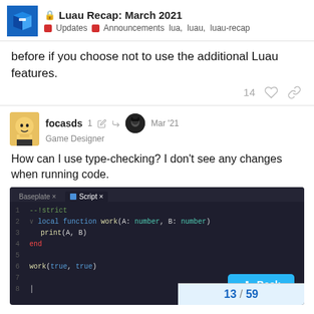🔒 Luau Recap: March 2021 | Updates | Announcements | lua, luau, luau-recap
before if you choose not to use the additional Luau features.
14 ♡ 🔗
focasds — Game Designer — 1 ✏ ↩ Mar '21
How can I use type-checking? I don't see any changes when running code.
[Figure (screenshot): A Roblox Studio script editor showing a Luau script with type annotations. The code includes: --!strict, local function work(A: number, B: number), print(A, B), end, work(true, true). There is a Back button and page navigation showing 13/59.]